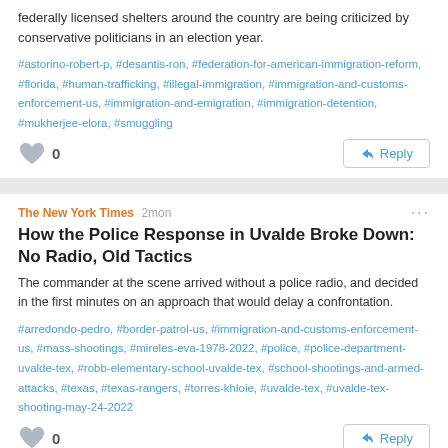federally licensed shelters around the country are being criticized by conservative politicians in an election year.
#astorino-robert-p, #desantis-ron, #federation-for-american-immigration-reform, #florida, #human-trafficking, #illegal-immigration, #immigration-and-customs-enforcement-us, #immigration-and-emigration, #immigration-detention, #mukherjee-elora, #smuggling
0
Reply
The New York Times 2mon
How the Police Response in Uvalde Broke Down: No Radio, Old Tactics
The commander at the scene arrived without a police radio, and decided in the first minutes on an approach that would delay a confrontation.
#arredondo-pedro, #border-patrol-us, #immigration-and-customs-enforcement-us, #mass-shootings, #mireles-eva-1978-2022, #police, #police-department-uvalde-tex, #robb-elementary-school-uvalde-tex, #school-shootings-and-armed-attacks, #texas, #texas-rangers, #torres-khloie, #uvalde-tex, #uvalde-tex-shooting-may-24-2022
0
Reply
The New York Times 4mon